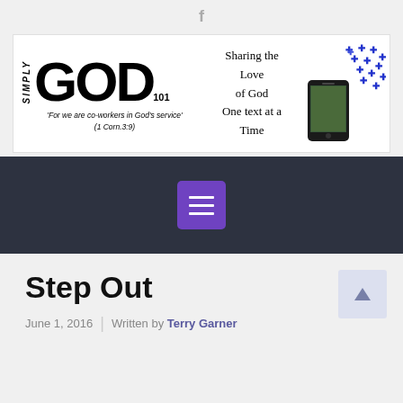f
[Figure (logo): Simply GOD 101 logo with cross in the O letter, tagline 'For we are co-workers in God's service' (1 Corn.3:9), and 'Sharing the Love of God One text at a Time' with phone and blue cross symbols]
[Figure (infographic): Dark navigation bar with purple hamburger menu button]
Step Out
June 1, 2016 | Written by Terry Garner